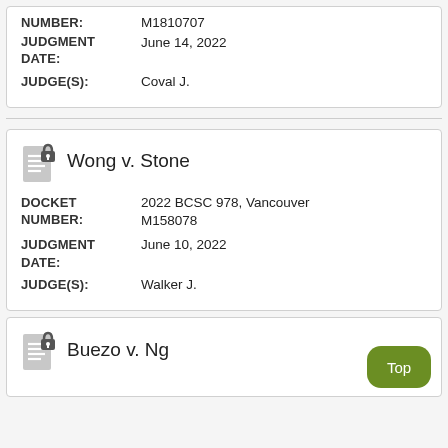| Field | Value |
| --- | --- |
| NUMBER: | M1810707 |
| JUDGMENT DATE: | June 14, 2022 |
| JUDGE(S): | Coval J. |
Wong v. Stone
| Field | Value |
| --- | --- |
| DOCKET NUMBER: | 2022 BCSC 978, Vancouver M158078 |
| JUDGMENT DATE: | June 10, 2022 |
| JUDGE(S): | Walker J. |
Buezo v. Ng